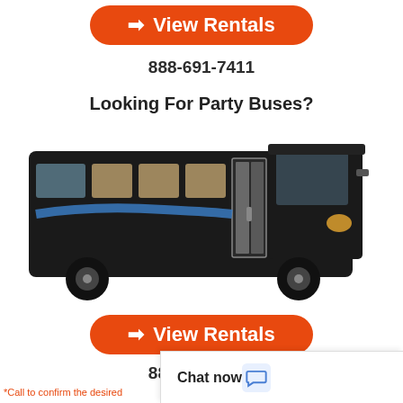→ View Rentals (button)
888-691-7411
Looking For Party Buses?
[Figure (photo): A large black party bus with blue accent stripes, viewed from a three-quarter front angle on a white background.]
→ View Rentals (button)
888-691-7411
*Call to confirm the desired
Chat now